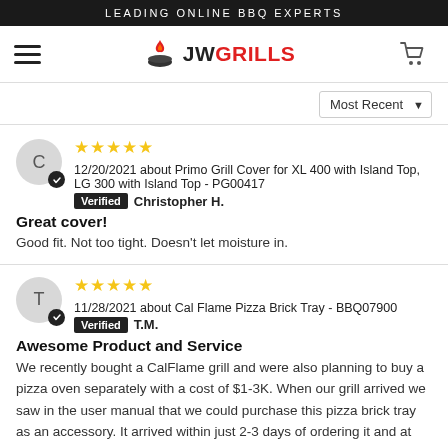LEADING ONLINE BBQ EXPERTS
[Figure (logo): JW Grills logo with flame icon and navigation bar with hamburger menu and cart icon]
Most Recent ▼
★★★★★ 12/20/2021 about Primo Grill Cover for XL 400 with Island Top, LG 300 with Island Top - PG00417
Verified  Christopher H.
Great cover!
Good fit. Not too tight. Doesn't let moisture in.
★★★★★ 11/28/2021 about Cal Flame Pizza Brick Tray - BBQ07900
Verified  T.M.
Awesome Product and Service
We recently bought a CalFlame grill and were also planning to buy a pizza oven separately with a cost of $1-3K. When our grill arrived we saw in the user manual that we could purchase this pizza brick tray as an accessory. It arrived within just 2-3 days of ordering it and at $125